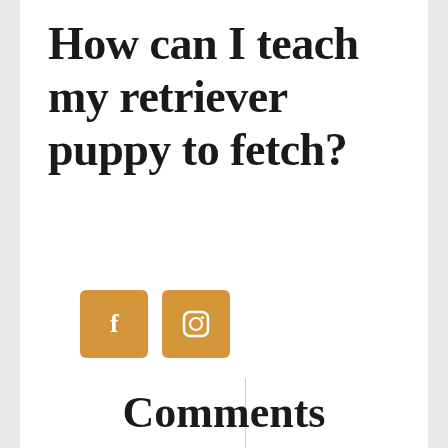How can I teach my retriever puppy to fetch?
[Figure (infographic): Two square social media icon buttons in golden/amber color: a Facebook icon (letter f) and an Instagram icon (camera outline)]
Comments